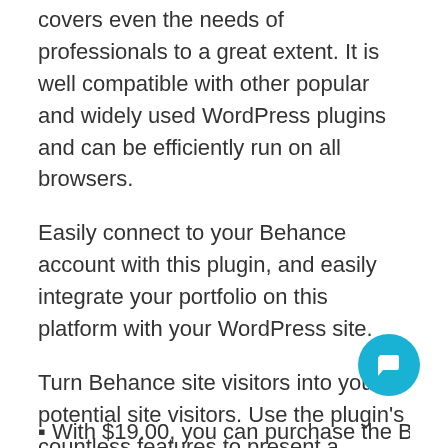covers even the needs of professionals to a great extent. It is well compatible with other popular and widely used WordPress plugins and can be efficiently run on all browsers.
Easily connect to your Behance account with this plugin, and easily integrate your portfolio on this platform with your WordPress site.
Turn Behance site visitors into your potential site visitors. Use the plugin's countless features to present a fantastic portfolio gallery on your website so that visitors absorb your website and increase your site efficiency and success.
▪ With $19.00, you can purchase the Behancian...